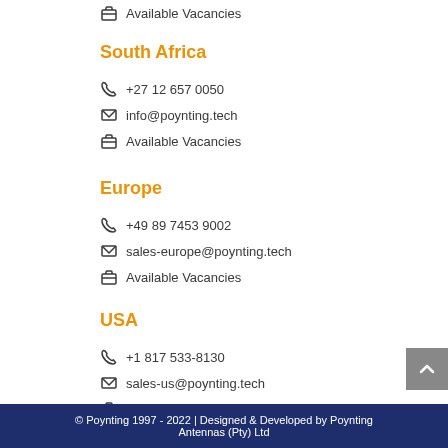Available Vacancies
South Africa
+27 12 657 0050
info@poynting.tech
Available Vacancies
Europe
+49 89 7453 9002
sales-europe@poynting.tech
Available Vacancies
USA
+1 817 533-8130
sales-us@poynting.tech
Available Vacancies
© Poynting 1997 - 2022 | Designed & Developed by Poynting Antennas (Pty) Ltd